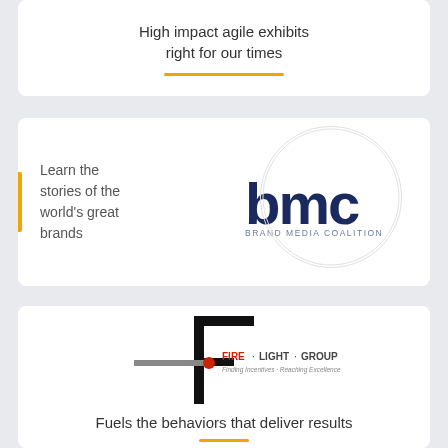High impact agile exhibits right for our times
[Figure (logo): BMC Brand Media Coalition logo with text 'Learn the stories of the world's great brands']
Learn the stories of the world's great brands
[Figure (logo): Fire Light Group logo - large F mark with horizontal bar and red dot, with tagline 'Finding Incentives + Reaching Excellence']
Fuels the behaviors that deliver results